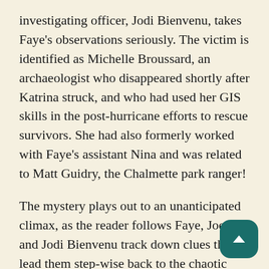investigating officer, Jodi Bienvenu, takes Faye's observations seriously. The victim is identified as Michelle Broussard, an archaeologist who disappeared shortly after Katrina struck, and who had used her GIS skills in the post-hurricane efforts to rescue survivors. She had also formerly worked with Faye's assistant Nina and was related to Matt Guidry, the Chalmette park ranger!
The mystery plays out to an unanticipated climax, as the reader follows Faye, Joe, and Jodi Bienvenu track down clues that lead them step-wise back to the chaotic days that followed Katrina's devastation of New Orleans and the failure of the levees. Along the way we are treated to an engineering history of attempts at controlling waters that have threatened the Crescent City from its